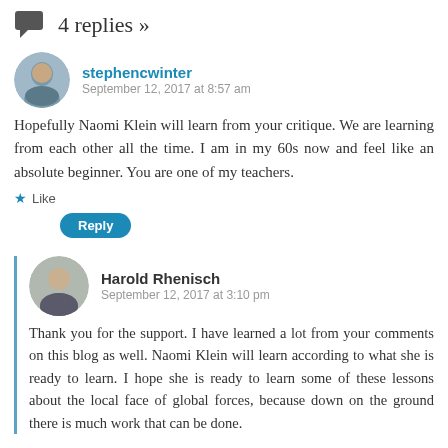4 replies »
stephencwinter
September 12, 2017 at 8:57 am
Hopefully Naomi Klein will learn from your critique. We are learning from each other all the time. I am in my 60s now and feel like an absolute beginner. You are one of my teachers.
Like
Reply
Harold Rhenisch
September 12, 2017 at 3:10 pm
Thank you for the support. I have learned a lot from your comments on this blog as well. Naomi Klein will learn according to what she is ready to learn. I hope she is ready to learn some of these lessons about the local face of global forces, because down on the ground there is much work that can be done.